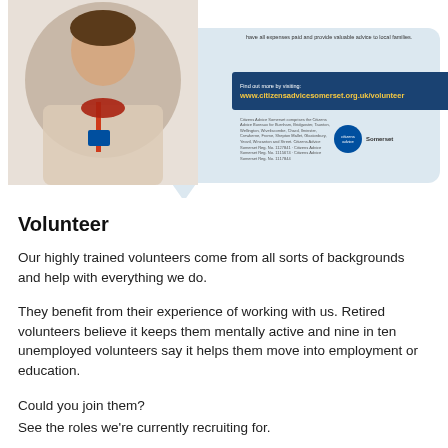[Figure (screenshot): Citizens Advice Somerset volunteer recruitment flyer showing a woman volunteer wearing a lanyard, a light blue speech bubble, a dark navy banner with URL www.citizensadvicesomerset.org.uk/volunteer in yellow text, small print text, and the Citizens Advice Somerset logo.]
Volunteer
Our highly trained volunteers come from all sorts of backgrounds and help with everything we do.
They benefit from their experience of working with us. Retired volunteers believe it keeps them mentally active and nine in ten unemployed volunteers say it helps them move into employment or education.
Could you join them?
See the roles we're currently recruiting for.